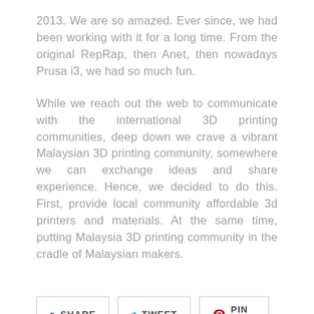2013. We are so amazed. Ever since, we had been working with it for a long time. From the original RepRap, then Anet, then nowadays Prusa i3, we had so much fun.
While we reach out the web to communicate with the international 3D printing communities, deep down we crave a vibrant Malaysian 3D printing community, somewhere we can exchange ideas and share experience. Hence, we decided to do this. First, provide local community affordable 3d printers and materials. At the same time, putting Malaysia 3D printing community in the cradle of Malaysian makers.
SHARE  TWEET  PIN IT